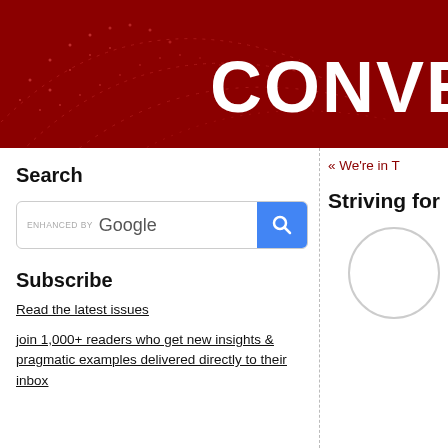[Figure (illustration): Dark red banner header with white dot-pattern arc design and large bold white text reading CONVERS (cropped)]
Search
[Figure (screenshot): Google search bar with ENHANCED BY Google label and blue search button with magnifying glass icon]
Subscribe
Read the latest issues
join 1,000+ readers who get new insights & pragmatic examples delivered directly to their inbox
« We're in T
Striving for
[Figure (photo): Partial circle/portrait image cropped at the right edge]